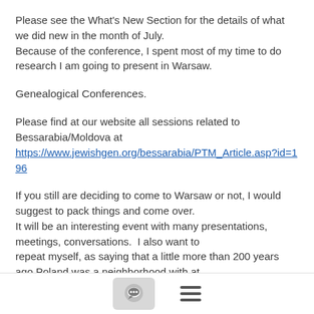Please see the What's New Section for the details of what we did new in the month of July.
Because of the conference, I spent most of my time to do research I am going to present in Warsaw.
Genealogical Conferences.
Please find at our website all sessions related to Bessarabia/Moldova at
https://www.jewishgen.org/bessarabia/PTM_Article.asp?id=196
If you still are deciding to come to Warsaw or not, I would suggest to pack things and come over.
It will be an interesting event with many presentations, meetings, conversations.  I also want to
repeat myself, as saying that a little more than 200 years ago Poland was a neighborhood with at
that time Moldova Principality...  and many Jews who came to Bessarabia in 18-19 century were
[Figure (other): Chat bubble icon button and hamburger menu icon in a bottom navigation bar]